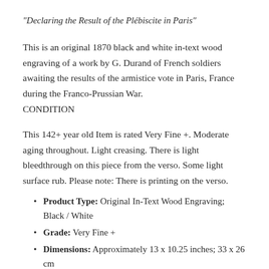"Declaring the Result of the Plébiscite in Paris"
This is an original 1870 black and white in-text wood engraving of a work by G. Durand of French soldiers awaiting the results of the armistice vote in Paris, France during the Franco-Prussian War.
CONDITION
This 142+ year old Item is rated Very Fine +. Moderate aging throughout. Light creasing. There is light bleedthrough on this piece from the verso. Some light surface rub. Please note: There is printing on the verso.
Product Type: Original In-Text Wood Engraving; Black / White
Grade: Very Fine +
Dimensions: Approximately 13 x 10.25 inches; 33 x 26 cm